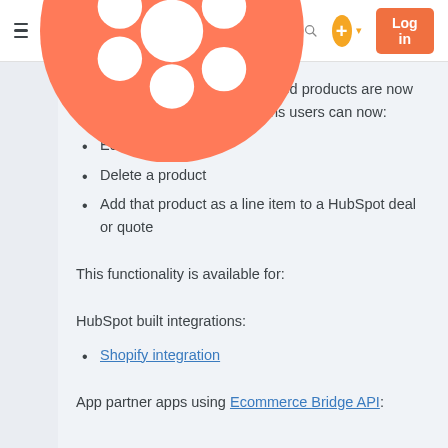HubSpot navigation bar with hamburger menu, HubSpot logo, search icon, plus button, and Log in button
Shopify and EcommBridge synced products are now editable in HubSpot. This means users can now:
Edit a product
Delete a product
Add that product as a line item to a HubSpot deal or quote
This functionality is available for:
HubSpot built integrations:
Shopify integration
App partner apps using Ecommerce Bridge API: